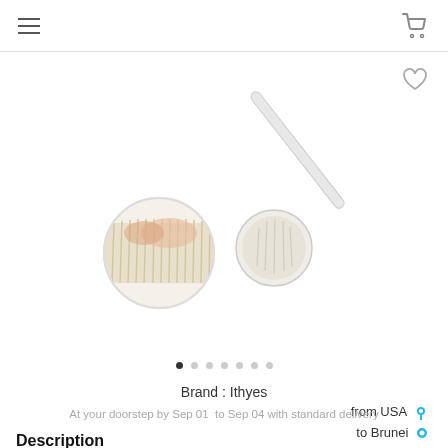navigation header with hamburger menu and cart icon
[Figure (photo): Product photo of a bath brush with long clear handle and round brush head with natural bristles, alongside a close-up circular inset showing the bristles detail]
Brand : Ithyes
from USA to Brunei in 5-8 days
At your doorstep by Sep 01  to Sep 04 with standard delivery
Description